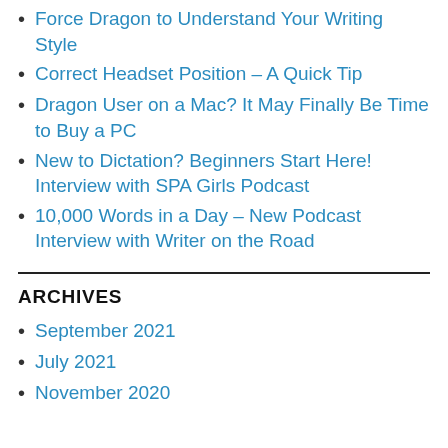Force Dragon to Understand Your Writing Style
Correct Headset Position – A Quick Tip
Dragon User on a Mac? It May Finally Be Time to Buy a PC
New to Dictation? Beginners Start Here! Interview with SPA Girls Podcast
10,000 Words in a Day – New Podcast Interview with Writer on the Road
ARCHIVES
September 2021
July 2021
November 2020